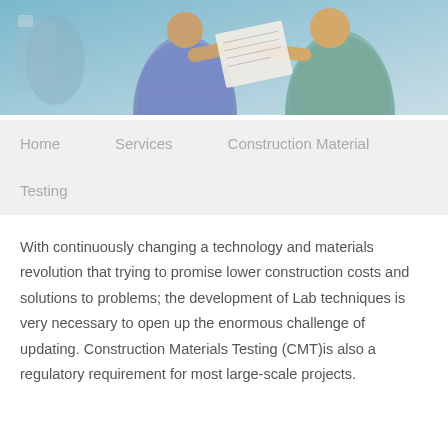[Figure (photo): Two people in a lab/industrial setting reviewing documents or blueprints together. One wears a patterned shirt, the other a plaid shirt. Background shows lab equipment.]
Home   Services   Construction Material Testing
With continuously changing a technology and materials revolution that trying to promise lower construction costs and solutions to problems; the development of Lab techniques is very necessary to open up the enormous challenge of updating. Construction Materials Testing (CMT)is also a regulatory requirement for most large-scale projects.